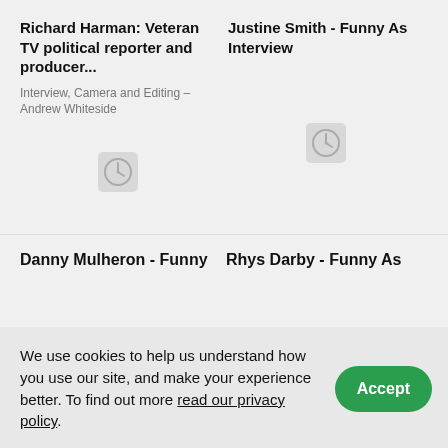Richard Harman: Veteran TV political reporter and producer...
Interview, Camera and Editing – Andrew Whiteside
[Figure (other): Clock/placeholder thumbnail icon for video]
Justine Smith - Funny As Interview
[Figure (other): Clock/placeholder thumbnail icon for video]
Danny Mulheron - Funny
Rhys Darby - Funny As
We use cookies to help us understand how you use our site, and make your experience better. To find out more read our privacy policy.